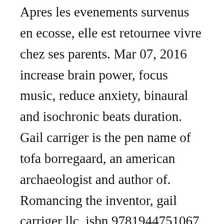Apres les evenements survenus en ecosse, elle est retournee vivre chez ses parents. Mar 07, 2016 increase brain power, focus music, reduce anxiety, binaural and isochronic beats duration. Gail carriger is the pen name of tofa borregaard, an american archaeologist and author of. Romancing the inventor, gail carriger llc, isbn 9781944751067, pub date 1 november 2016, paperback ebook. Praise for poison or protect alternate title for poison or protect much ado about lobsters.
All alone in singapore, proper miss primrose totally out of her diss to care about in big...